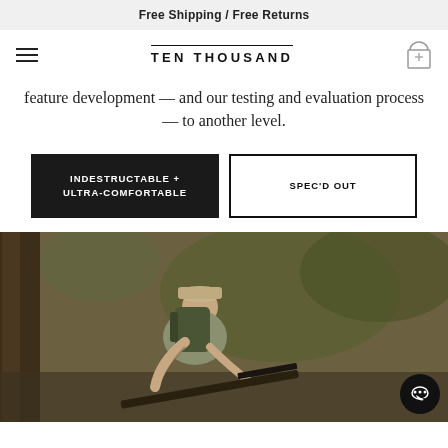Free Shipping / Free Returns
TEN THOUSAND
feature development — and our testing and evaluation process — to another level.
INDESTRUCTABLE + ULTRA-COMFORTABLE
SPEC'D OUT
[Figure (photo): Man with backpack and rifle in a forest setting, leaning forward, wearing a tan cap and grey t-shirt]